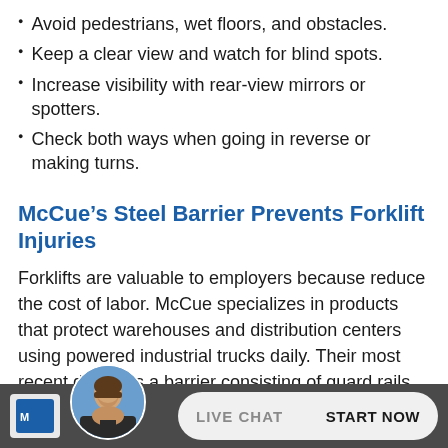Avoid pedestrians, wet floors, and obstacles.
Keep a clear view and watch for blind spots.
Increase visibility with rear-view mirrors or spotters.
Check both ways when going in reverse or making turns.
McCue’s Steel Barrier Prevents Forklift Injuries
Forklifts are valuable to employers because reduce the cost of labor. McCue specializes in products that protect warehouses and distribution centers using powered industrial trucks daily. Their most recent design is a barrier consisting of guard rails which absorb and deflect energy from a forklift. This barrier has the potential not only secure assets, but to save lives.
[Figure (other): Live chat bar with avatar photo of a man in a suit and a chat bubble with LIVE CHAT and START NOW labels]